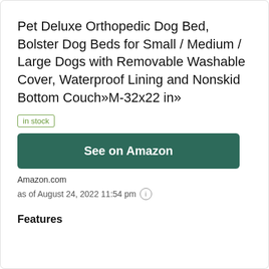Pet Deluxe Orthopedic Dog Bed, Bolster Dog Beds for Small / Medium / Large Dogs with Removable Washable Cover, Waterproof Lining and Nonskid Bottom Couch»M-32x22 in»
in stock
See on Amazon
Amazon.com
as of August 24, 2022 11:54 pm
Features